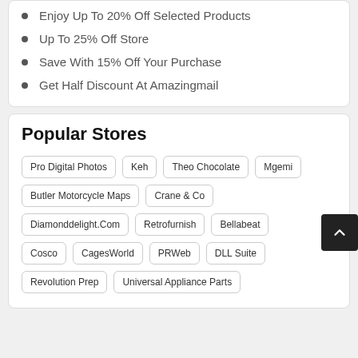Enjoy Up To 20% Off Selected Products
Up To 25% Off Store
Save With 15% Off Your Purchase
Get Half Discount At Amazingmail
Popular Stores
Pro Digital Photos | Keh | Theo Chocolate | Mgemi | Butler Motorcycle Maps | Crane & Co | Diamonddelight.Com | Retrofurnish | Bellabeat | Cosco | CagesWorld | PRWeb | DLL Suite | Revolution Prep | Universal Appliance Parts